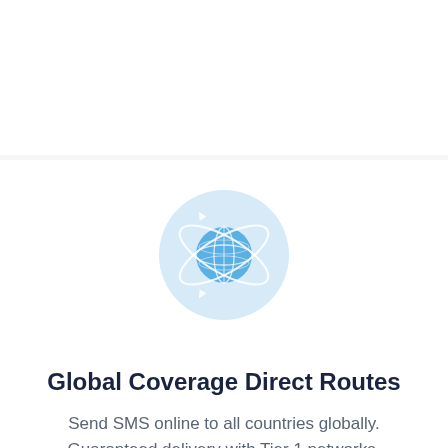[Figure (illustration): Globe icon with orbital rings on a light blue circular background, representing global coverage]
Global Coverage Direct Routes
Send SMS online to all countries globally. Guaranteed delivery with Tier 1 networks.